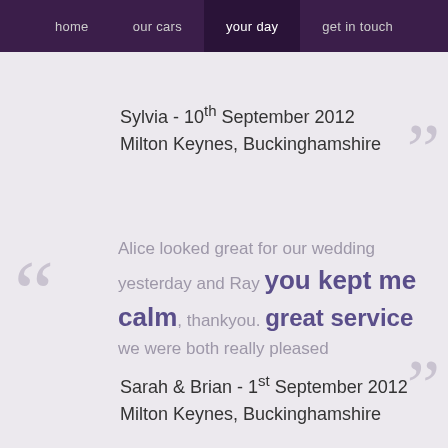home  our cars  your day  get in touch
Sylvia - 10th September 2012
Milton Keynes, Buckinghamshire
Alice looked great for our wedding yesterday and Ray you kept me calm, thankyou. great service we were both really pleased
Sarah & Brian - 1st September 2012
Milton Keynes, Buckinghamshire